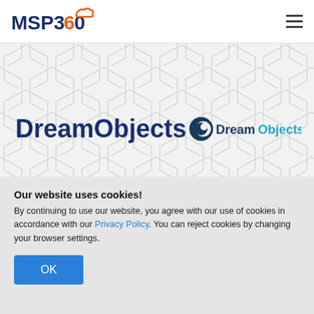MSP360
DreamObjects
[Figure (logo): DreamObjects logo: circular icon with 'Dream' in dark and 'Objects' in cyan/teal text]
Our website uses cookies! By continuing to use our website, you agree with our use of cookies in accordance with our Privacy Policy. You can reject cookies by changing your browser settings.
OK